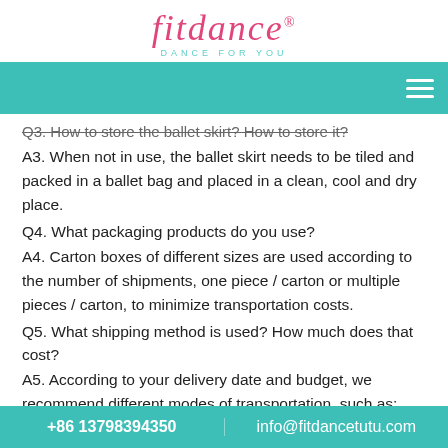[Figure (logo): Fitdance logo with tagline 'DANCE FOR YOU' in teal]
Q3. How to store the ballet skirt? How to store it?
A3. When not in use, the ballet skirt needs to be tiled and packed in a ballet bag and placed in a clean, cool and dry place.
Q4. What packaging products do you use?
A4. Carton boxes of different sizes are used according to the number of shipments, one piece / carton or multiple pieces / carton, to minimize transportation costs.
Q5. What shipping method is used? How much does that cost?
A5. According to your delivery date and budget, we recommend different modes of transportation, such as: DHL (expensive), EMS (highest price/performance ratio), China Post Large Pack / SEA
+86 13798394350    info@fitdancetutu.com